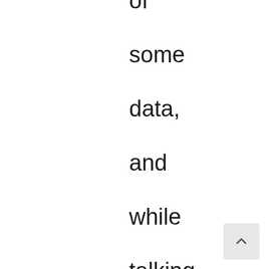of some data, and while talking is ongoing, team
[Figure (other): Scroll-to-top button with upward chevron arrow]